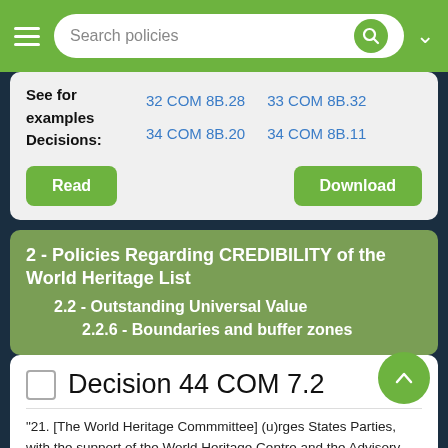Search policies
See for examples Decisions: 32 COM 8B.28  33 COM 8B.32  34 COM 8B.20  34 COM 8B.11
Read  Download
2 - Policies Regarding CREDIBILITY of the World Heritage List
2.2 - Outstanding Universal Value
2.2.6 - Boundaries and buffer zones
Decision 44 COM 7.2
"21. [The World Heritage Commmittee] (u)rges States Parties, with the support of the World Heritage Centre and the Advisory Bodies, to: